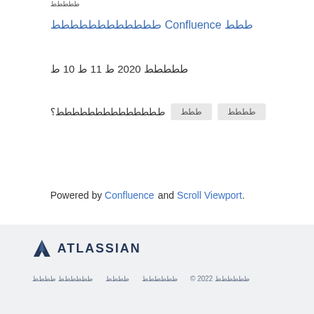ططططط
طططططططططططط Confluence ططط
ططططط 2020 ط 11 ط 10 ط
طططططططططططططط؟  ططط  طططط
Powered by Confluence and Scroll Viewport.
[Figure (logo): Atlassian logo with mountain/triangle icon and ATLASSIAN text]
طططططط طططط  طططط  طططططط  © 2022 طططططط